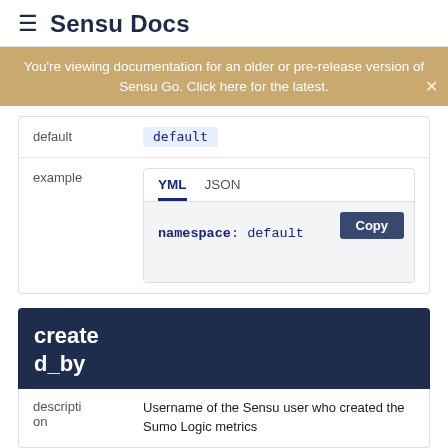≡ Sensu Docs
You're viewing documentation for an older or pre-release version of Sensu Go. Click here for the latest.
| default | default |
| example | YML JSON
namespace: default |
created_by
| description | Username of the Sensu user who created the Sumo Logic metrics |